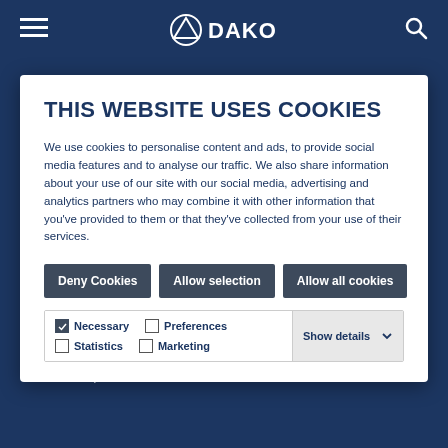DAKO
THIS WEBSITE USES COOKIES
We use cookies to personalise content and ads, to provide social media features and to analyse our traffic. We also share information about your use of our site with our social media, advertising and analytics partners who may combine it with other information that you've provided to them or that they've collected from your use of their services.
Deny Cookies | Allow selection | Allow all cookies
Necessary | Preferences | Statistics | Marketing | Show details
our website will not take place.
You can withdraw your consent at any time with effect for the future. To exercise your right of withdrawal of consent, please deactivate this service in the "Cookie